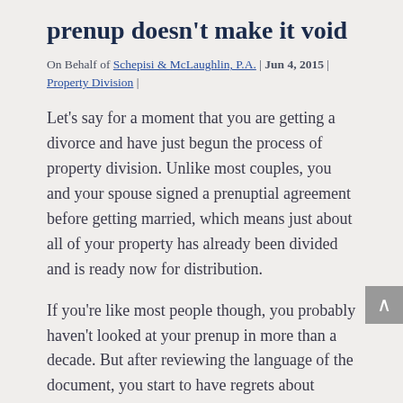prenup doesn't make it void
On Behalf of Schepisi & McLaughlin, P.A. | Jun 4, 2015 | Property Division |
Let's say for a moment that you are getting a divorce and have just begun the process of property division. Unlike most couples, you and your spouse signed a prenuptial agreement before getting married, which means just about all of your property has already been divided and is ready now for distribution.
If you're like most people though, you probably haven't looked at your prenup in more than a decade. But after reviewing the language of the document, you start to have regrets about signing it in the first place. Perhaps it's because you became attached to your marital home that you waived your right to in the event of a divorce. Or perhaps you're annoyed that you will now be responsible for some of